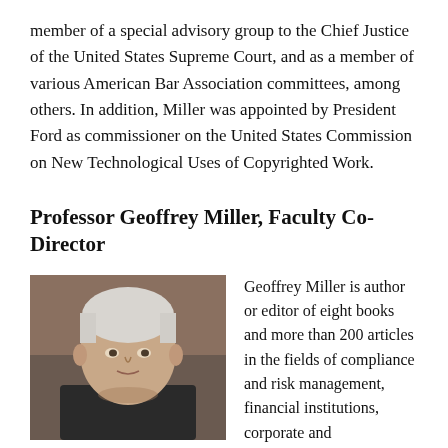member of a special advisory group to the Chief Justice of the United States Supreme Court, and as a member of various American Bar Association committees, among others. In addition, Miller was appointed by President Ford as commissioner on the United States Commission on New Technological Uses of Copyrighted Work.
Professor Geoffrey Miller, Faculty Co-Director
[Figure (photo): Headshot of an older white-haired man, presumably Professor Geoffrey Miller]
Geoffrey Miller is author or editor of eight books and more than 200 articles in the fields of compliance and risk management, financial institutions, corporate and